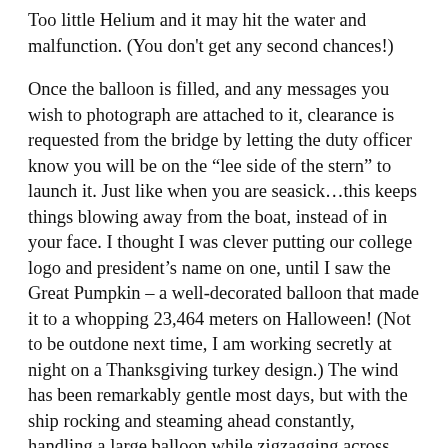Too little Helium and it may hit the water and malfunction. (You don't get any second chances!)
Once the balloon is filled, and any messages you wish to photograph are attached to it, clearance is requested from the bridge by letting the duty officer know you will be on the “lee side of the stern” to launch it. Just like when you are seasick…this keeps things blowing away from the boat, instead of in your face. I thought I was clever putting our college logo and president’s name on one, until I saw the Great Pumpkin – a well-decorated balloon that made it to a whopping 23,464 meters on Halloween! (Not to be outdone next time, I am working secretly at night on a Thanksgiving turkey design.) The wind has been remarkably gentle most days, but with the ship rocking and steaming ahead constantly, handling a large balloon while zigzagging across deck between equipment and storage boxes can be challenging, especially in the dark. Sounding balloons are sent up